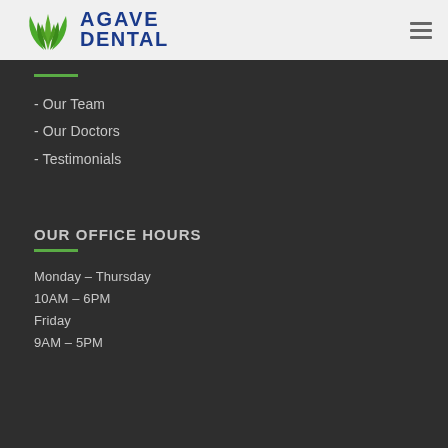Agave Dental
- Our Team
- Our Doctors
- Testimonials
OUR OFFICE HOURS
Monday – Thursday
10AM – 6PM
Friday
9AM – 5PM